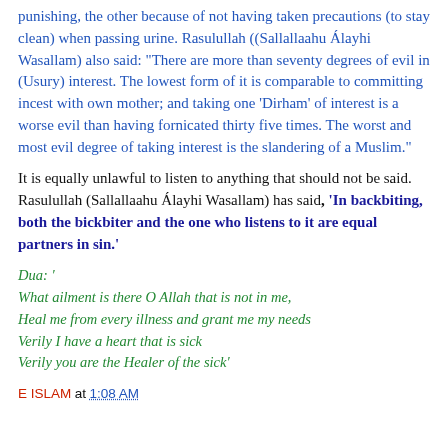punishing, the other because of not having taken precautions (to stay clean) when passing urine. Rasulullah ((Sallallaahu Álayhi Wasallam) also said: "There are more than seventy degrees of evil in (Usury) interest. The lowest form of it is comparable to committing incest with own mother; and taking one 'Dirham' of interest is a worse evil than having fornicated thirty five times. The worst and most evil degree of taking interest is the slandering of a Muslim."
It is equally unlawful to listen to anything that should not be said. Rasulullah (Sallallaahu Álayhi Wasallam) has said, 'In backbiting, both the bickbiter and the one who listens to it are equal partners in sin.'
Dua: '
What ailment is there O Allah that is not in me,
Heal me from every illness and grant me my needs
Verily I have a heart that is sick
Verily you are the Healer of the sick'
E ISLAM at 1:08 AM